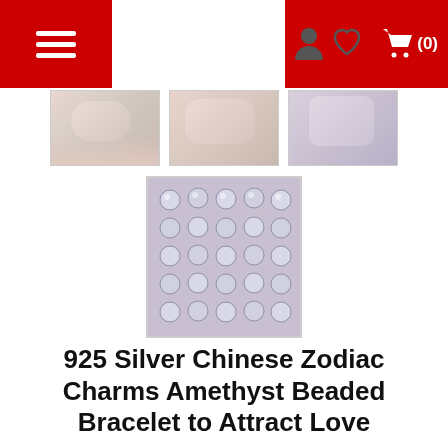Navigation bar with menu, search, user, wishlist, and cart icons
[Figure (photo): Three product thumbnail photos of bracelet, partially visible at top]
[Figure (photo): Product photo showing a grid of Chinese zodiac charm pieces in silver]
925 Silver Chinese Zodiac Charms Amethyst Beaded Bracelet to Attract Love
[Figure (other): 5 gold star rating icons]
[ 4 review(s) ]  [ 111 Sold ]
$23.99
|  |  |